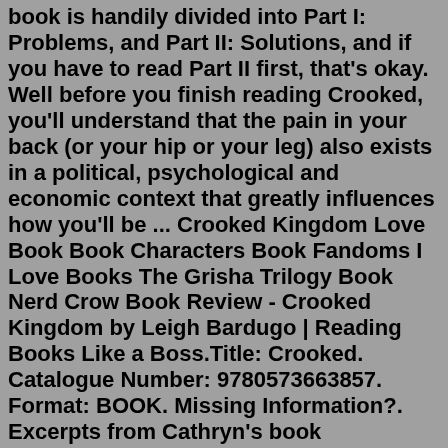book is handily divided into Part I: Problems, and Part II: Solutions, and if you have to read Part II first, that's okay. Well before you finish reading Crooked, you'll understand that the pain in your back (or your hip or your leg) also exists in a political, psychological and economic context that greatly influences how you'll be ... Crooked Kingdom Love Book Book Characters Book Fandoms I Love Books The Grisha Trilogy Book Nerd Crow Book Review - Crooked Kingdom by Leigh Bardugo | Reading Books Like a Boss.Title: Crooked. Catalogue Number: 9780573663857. Format: BOOK. Missing Information?. Excerpts from Cathryn's book CROOKED, focusing on the back pain industry. Select chapters and pieces include closer looks at chiropractors, spinal surgeons, and physiotherapies, as well as how to cope and live with back pain, lower back pain, back pain while pregnant and more. Crooked: Outwitting the Back Pain Industry and Getting on the Road to Recovery. The acclaimed author of Carved in Sand—a veteran investigative